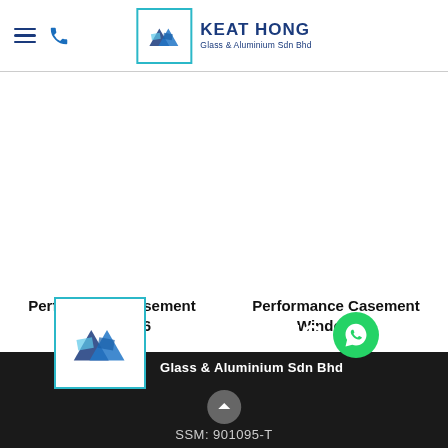Keat Hong Glass & Aluminium Sdn Bhd — navigation header
Performance Casement Window 16
Performance Casement Window 28
[Figure (logo): Keat Hong Glass & Aluminium Sdn Bhd footer logo with WhatsApp button]
SSM: 901095-T